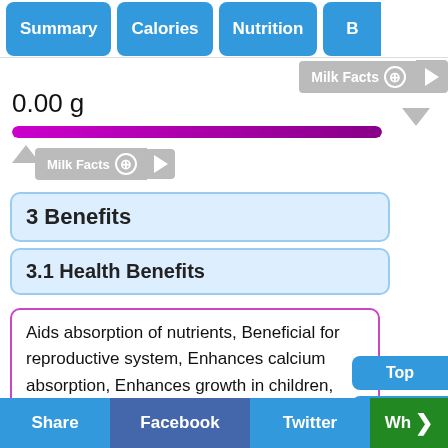Summary | Calories | Nutrition | B...
[Figure (screenshot): Milk Facts button with plus and arrow icons at top right]
0.00 g
[Figure (infographic): Purple progress bar fully filled]
[Figure (screenshot): Milk Facts button with up arrow indicator at bottom left]
3 Benefits
3.1 Health Benefits
Aids absorption of nutrients, Beneficial for reproductive system, Enhances calcium absorption, Enhances growth in children, Favorable for infants, Strong & healthy muscles, Absorps of Calcium & Vitamin B, Lowers the risk of gallstones, Presence of calcium, Presence of calcium makes teeth strong & healthy, Reduces nutrient
Share | Facebook | Twitter | Wh...